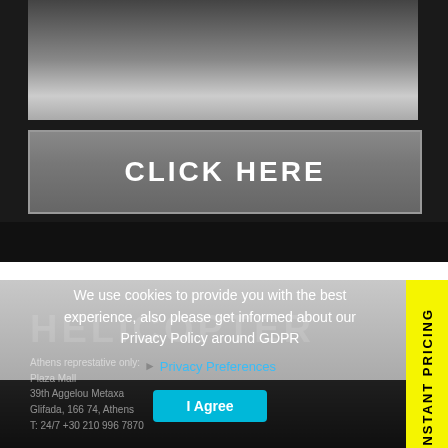[Figure (photo): Aerial or outdoor photo with clouds/sky at the top section of a helicopter company website]
CLICK HERE
[Figure (photo): Gray landscape/mountain scenic background image with helicopter company branding]
INSTANT PRICING
We use cookies to provide you with the best experience, also please get informed about our Privacy Policy around GDPR
Privacy Preferences
I Agree
Athens represtative only:
Plaza Mall
39th Aggelou Metaxa
Glifada, 166 74, Athens
T: 24/7 +30 210 996 7870